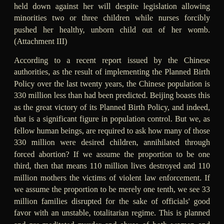held down against her will despite legislation allowing minorities two or three children while nurses forcibly pushed her healthy, unborn child out of her womb. (Attachment III)
According to a recent report issued by the Chinese authorities, as the result of implementing the Planned Birth Policy over the last twenty years, the Chinese population is 330 million less than had been predicted. Beijing boasts this as the great victory of its Planned Birth Policy, and indeed, that is a significant figure in population control. But we, as fellow human beings, are required to ask how many of those 330 million were desired children, annihilated through forced abortion? If we assume the proportion to be one third, then that means 110 million lives destroyed and 110 million mothers the victims of violent law enforcement. If we assume the proportion to be merely one tenth, we see 33 million families disrupted for the sake of officials' good favor with an unstable, totalitarian regime. This is planned and pre-meditated murder and abuse of both women and children.
Violent consequences aside, it is important to note that if Chinese authorities continue to implement this Planned Birth Policy, the Chinese population will be horribly unbalanced. In a small village in the Guanxi province, 19 out of 24 births during the year 2001 were boys. China's population of 1.2 billion people has 41 million more men than women. The